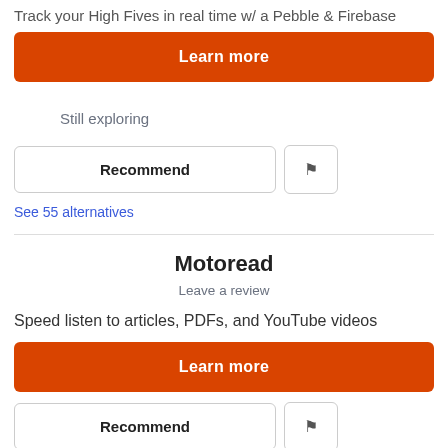Track your High Fives in real time w/ a Pebble & Firebase
Learn more
Still exploring
Recommend
See 55 alternatives
Motoread
Leave a review
Speed listen to articles, PDFs, and YouTube videos
Learn more
Recommend